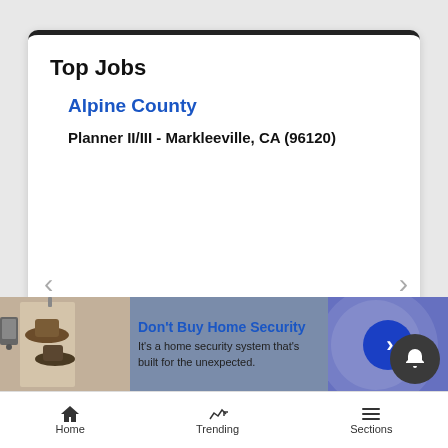Top Jobs
Alpine County
Planner II/III - Markleeville, CA (96120)
VIEW MORE LISTINGS ›
[Figure (screenshot): Advertisement banner for home security system with image of door hanging hats, text 'Don't Buy Home Security - It's a home security system that's built for the unexpected.' with a blue arrow button.]
Home   Trending   Sections